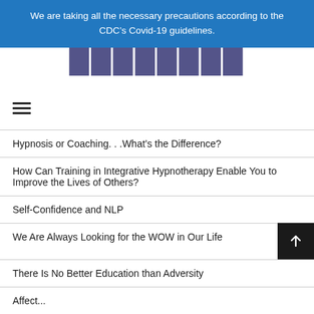We are taking all the necessary precautions according to the CDC's Covid-19 guidelines.
[Figure (logo): Website logo text partially visible]
[Figure (other): Hamburger menu icon (three horizontal lines)]
Hypnosis or Coaching. . .What’s the Difference?
How Can Training in Integrative Hypnotherapy Enable You to Improve the Lives of Others?
Self-Confidence and NLP
We Are Always Looking for the WOW in Our Life
There Is No Better Education than Adversity
Affect...